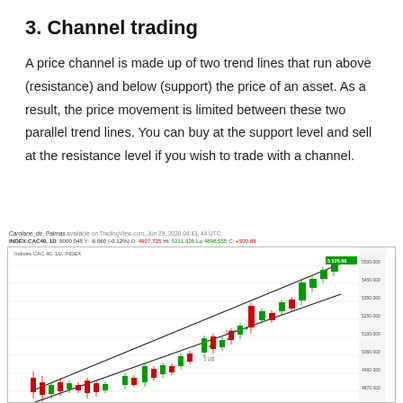3. Channel trading
A price channel is made up of two trend lines that run above (resistance) and below (support) the price of an asset. As a result, the price movement is limited between these two parallel trend lines. You can buy at the support level and sell at the resistance level if you wish to trade with a channel.
[Figure (screenshot): A candlestick chart (CAC 40, 1D) from TradingView showing an upward price channel with two parallel diagonal trend lines. Red and green candlesticks are visible with the price moving within the channel boundaries. Price axis on the right shows values ranging from approximately 4700 to 5500.]